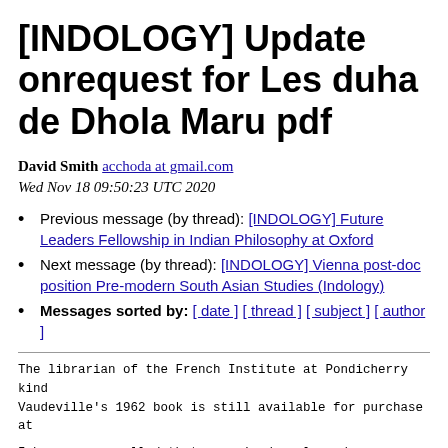[INDOLOGY] Update onrequest for Les duha de Dhola Maru pdf
David Smith acchoda at gmail.com
Wed Nov 18 09:50:23 UTC 2020
Previous message (by thread): [INDOLOGY] Future Leaders Fellowship in Indian Philosophy at Oxford
Next message (by thread): [INDOLOGY] Vienna post-doc position Pre-modern South Asian Studies (Indology)
Messages sorted by: [ date ] [ thread ] [ subject ] [ author ]
The librarian of the French Institute at Pondicherry kind
Vaudeville’s 1962 book is still available for purchase at
I have now recalled that a revised, enlarged, popularised
technical, account of the Duhas is available as the fina
Vaudeville’s *Myths, Saints and Legends in Medieval India
with an English translation, but not the Rajasthani text
There is a footnote to this concluding chapter of Vaudevi
essays by the editor stating that this essay was first pu